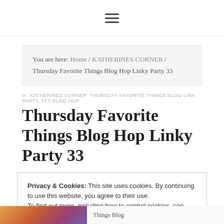≡
You are here: Home / KATHERINES CORNER / Thursday Favorite Things Blog Hop Linky Party 33
in KATHERINES CORNER· THURSDAY FAVORITE THINGS BLOG LINK PARTY, TFT BLOG HOP
Thursday Favorite Things Blog Hop Linky Party 33
Privacy & Cookies: This site uses cookies. By continuing to use this website, you agree to their use.
To find out more, including how to control cookies, see here: Cookie Policy
Close and accept